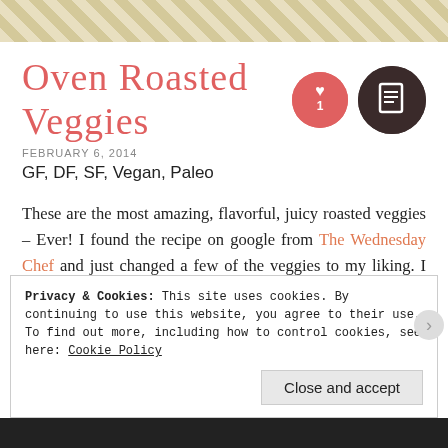Oven Roasted Veggies
FEBRUARY 6, 2014
GF, DF, SF, Vegan, Paleo
These are the most amazing, flavorful, juicy roasted veggies – Ever! I found the recipe on google from The Wednesday Chef and just changed a few of the veggies to my liking. I have to admit, I'm not a big fan of cooked vegetables in general, (I prefer raw veggies) but with gastroparesis, cooking them is a
Privacy & Cookies: This site uses cookies. By continuing to use this website, you agree to their use.
To find out more, including how to control cookies, see here: Cookie Policy
Close and accept